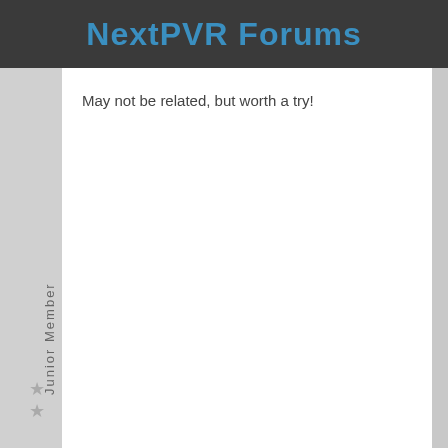NextPVR Forums
Junior Member
May not be related, but worth a try!